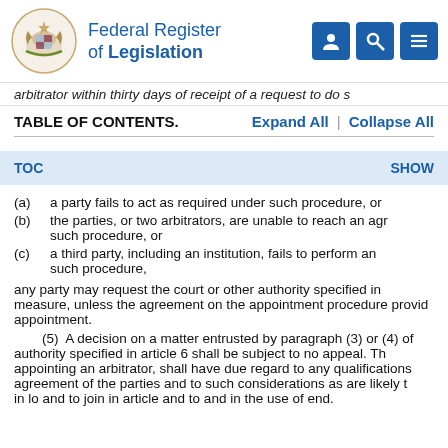Federal Register of Legislation
arbitrator within thirty days of receipt of a request to do s
TABLE OF CONTENTS.   Expand All  |  Collapse All
TOC    SHOW
(a)  a party fails to act as required under such procedure, or
(b)  the parties, or two arbitrators, are unable to reach an agr such procedure, or
(c)  a third party, including an institution, fails to perform an such procedure,
any party may request the court or other authority specified in measure, unless the agreement on the appointment procedure provid appointment.
(5)  A decision on a matter entrusted by paragraph (3) or (4) of authority specified in article 6 shall be subject to no appeal. Th appointing an arbitrator, shall have due regard to any qualifications agreement of the parties and to such considerations as are likely t in lo and to join in article and to and in the use of end.